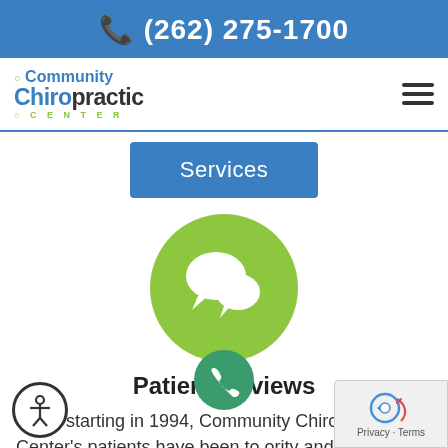(262) 275-1700
[Figure (logo): Community Chiropractic Center logo with blue text and green dots]
Services
[Figure (illustration): Green circle with white speech bubble / chat icons representing patient reviews]
Patient Reviews
Since starting in 1994, Community Chiropractic Center's patients have been to ority and are treated as family.